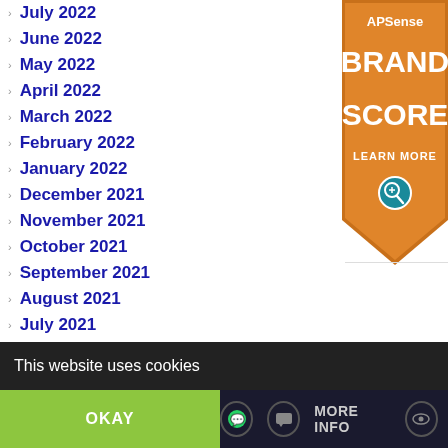July 2022
June 2022
May 2022
April 2022
March 2022
February 2022
January 2022
December 2021
November 2021
October 2021
September 2021
August 2021
July 2021
June 2021
May 2021
[Figure (logo): APSense Brand Score badge - orange shield/pennant shape with text BRAND SCORE and LEARN MORE with a magnifying glass icon]
This website uses cookies
OKAY
MORE INFO